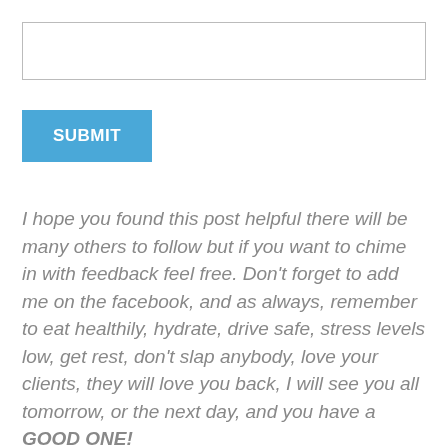[Figure (other): A text input box (form field), empty, with a light gray border]
[Figure (other): A blue SUBMIT button with white bold text]
I hope you found this post helpful there will be many others to follow but if you want to chime in with feedback feel free. Don't forget to add me on the facebook, and as always, remember to eat healthily, hydrate, drive safe, stress levels low, get rest, don't slap anybody, love your clients, they will love you back, I will see you all tomorrow, or the next day, and you have a GOOD ONE!